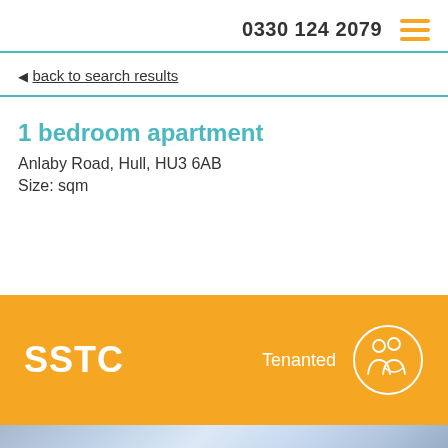0330 124 2079
back to search results
1 bedroom apartment
Anlaby Road, Hull, HU3 6AB
Size: sqm
SSTC
Tenanted